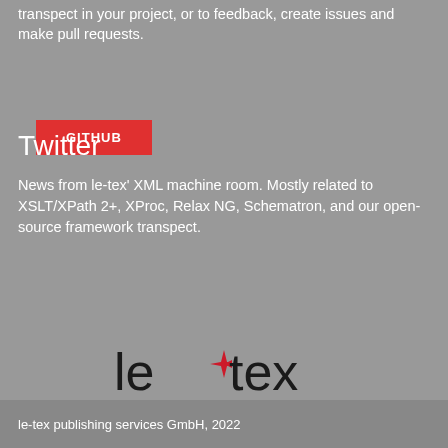transpect in your project, or to feedback, create issues and make pull requests.
GITHUB
Twitter
News from le-tex' XML machine room. Mostly related to XSLT/XPath 2+, XProc, Relax NG, Schematron, and our open-source framework transpect.
FOLLOW @LETEXML
[Figure (logo): le-tex publishing services logo with a red arrow/star shape between 'le' and 'tex']
le-tex publishing services GmbH, 2022